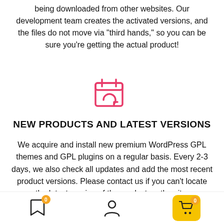being downloaded from other websites. Our development team creates the activated versions, and the files do not move via "third hands," so you can be sure you're getting the actual product!
[Figure (illustration): A pink/red calendar icon with a circular refresh/sync arrow overlay]
NEW PRODUCTS AND LATEST VERSIONS
We acquire and install new premium WordPress GPL themes and GPL plugins on a regular basis. Every 2-3 days, we also check all updates and add the most recent product versions. Please contact us if you can't locate the latest version of the product on the site.
0 (bookmark icon) | user icon | 0 (cart icon)